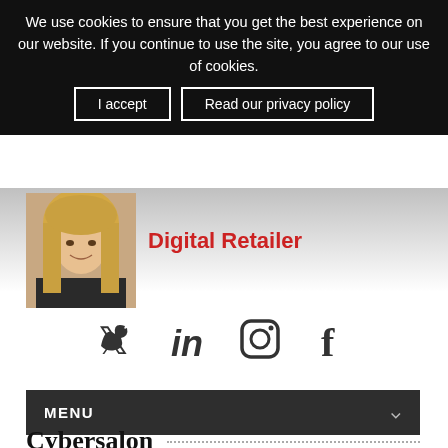We use cookies to ensure that you get the best experience on our website. If you continue to use the site, you agree to our use of cookies.
I accept | Read our privacy policy
[Figure (photo): Profile photo of a blonde woman, partially visible at top]
Digital Retailer
[Figure (infographic): Social media icons: Twitter, LinkedIn, Instagram, Facebook]
MENU
Cybersalon